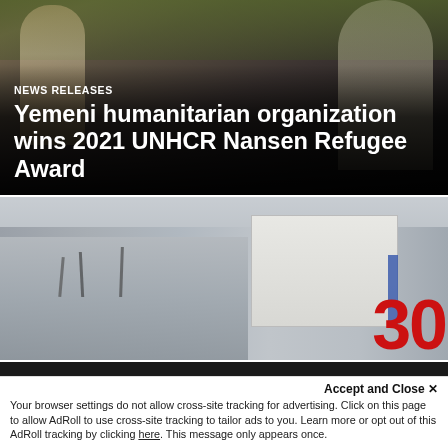[Figure (photo): People outdoors near foliage, dark overlay with news headline text overlay]
NEWS RELEASES
Yemeni humanitarian organization wins 2021 UNHCR Nansen Refugee Award
[Figure (photo): Refugee camp with tents and a large white container truck with red number 30, overcast sky]
We use cookies and other identifiers to help improve your online experience. By using our website you are agreeing to this. Read our privacy policy to find out what cookies are used for and how to change your settings.
Accept and Close ✕
Your browser settings do not allow cross-site tracking for advertising. Click on this page to allow AdRoll to use cross-site tracking to tailor ads to you. Learn more or opt out of this AdRoll tracking by clicking here. This message only appears once.